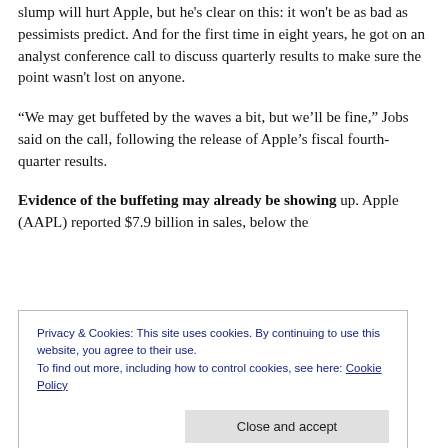slump will hurt Apple, but he's clear on this: it won't be as bad as pessimists predict. And for the first time in eight years, he got on an analyst conference call to discuss quarterly results to make sure the point wasn't lost on anyone.
“We may get buffeted by the waves a bit, but we’ll be fine,” Jobs said on the call, following the release of Apple’s fiscal fourth-quarter results.
Evidence of the buffeting may already be showing up. Apple (AAPL) reported $7.9 billion in sales, below the
Privacy & Cookies: This site uses cookies. By continuing to use this website, you agree to their use.
To find out more, including how to control cookies, see here: Cookie Policy
Close and accept